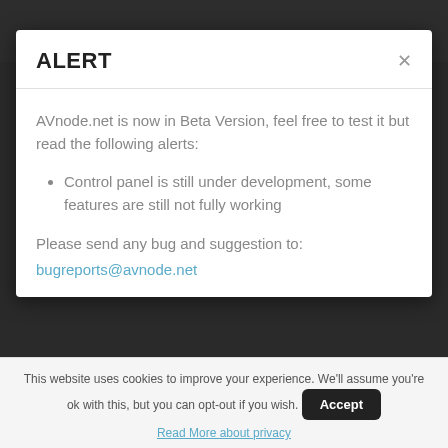ALERT
AVnode.net is now in Beta Version, feel free to test it but read the following alerts:
Control panel is still under development, some features are still not fully working
Please send any bug and suggestion to:
bugreports@avnode.net
This website uses cookies to improve your experience. We'll assume you're ok with this, but you can opt-out if you wish.
Accept
Read More about privacy